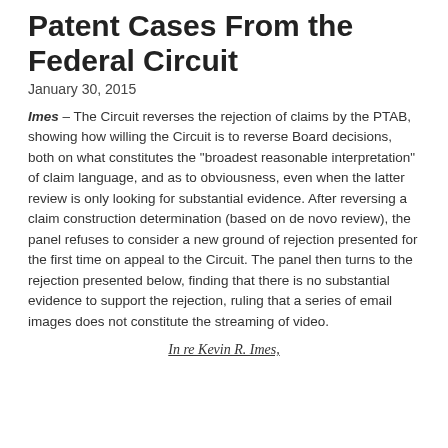Patent Cases From the Federal Circuit
January 30, 2015
Imes – The Circuit reverses the rejection of claims by the PTAB, showing how willing the Circuit is to reverse Board decisions, both on what constitutes the "broadest reasonable interpretation" of claim language, and as to obviousness, even when the latter review is only looking for substantial evidence. After reversing a claim construction determination (based on de novo review), the panel refuses to consider a new ground of rejection presented for the first time on appeal to the Circuit. The panel then turns to the rejection presented below, finding that there is no substantial evidence to support the rejection, ruling that a series of email images does not constitute the streaming of video.
In re Kevin R. Imes,